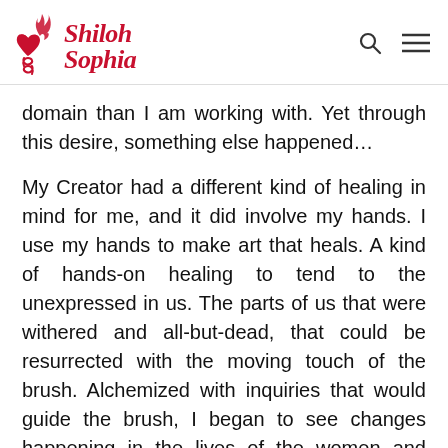Shiloh Sophia
domain than I am working with. Yet through this desire, something else happened…
My Creator had a different kind of healing in mind for me, and it did involve my hands. I use my hands to make art that heals. A kind of hands-on healing to tend to the unexpressed in us. The parts of us that were withered and all-but-dead, that could be resurrected with the moving touch of the brush. Alchemized with inquiries that would guide the brush, I began to see changes happening in the lives of the women and children I served.
After many years of practice and discovery, and study with my mom, Caron, the Poet and Sue Hoya Sellars, the Painter, I was guided to share this kind